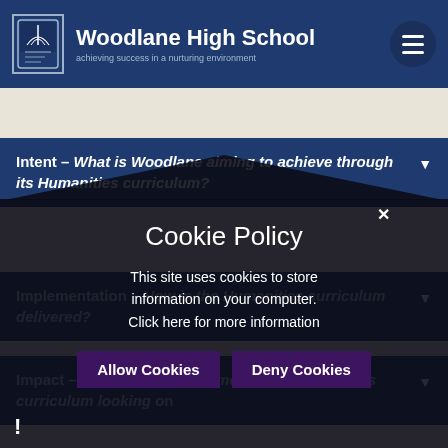Woodlane High School — achieving success in a nurturing environment
Intent – What is Woodlane aiming to achieve through its Humanities curriculum?
Implementation – How is the Humanities curriculum delivered?
Impact – What are the outcomes of the Humanities curriculum looking on
Cookie Policy
This site uses cookies to store information on your computer. Click here for more information
Allow Cookies
Deny Cookies